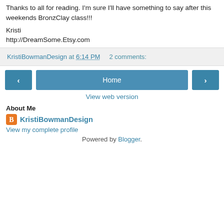Thanks to all for reading. I'm sure I'll have something to say after this weekends BronzClay class!!!
Kristi
http://DreamSome.Etsy.com
KristiBowmanDesign at 6:14 PM   2 comments:
‹  Home  ›
View web version
About Me
KristiBowmanDesign
View my complete profile
Powered by Blogger.